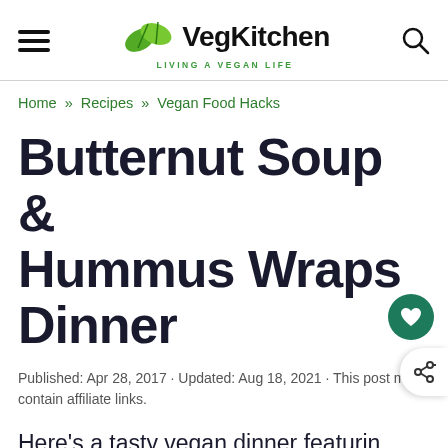VegKitchen — LIVING A VEGAN LIFE
Home » Recipes » Vegan Food Hacks
Butternut Soup & Hummus Wraps Dinner
Published: Apr 28, 2017 · Updated: Aug 18, 2021 · This post may contain affiliate links.
Here's a tasty vegan dinner featurin shortcut butternut squash soup and